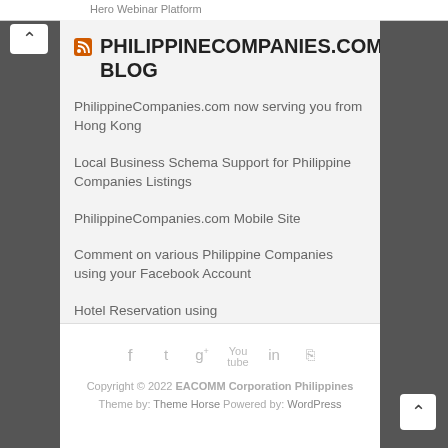Hero Webinar Platform
PHILIPPINECOMPANIES.COM BLOG
PhilippineCompanies.com now serving you from Hong Kong
Local Business Schema Support for Philippine Companies Listings
PhilippineCompanies.com Mobile Site
Comment on various Philippine Companies using your Facebook Account
Hotel Reservation using PhilippineCompanies.com
Copyright © 2022 EACOMM Corporation Philippines
Theme by: Theme Horse Powered by: WordPress